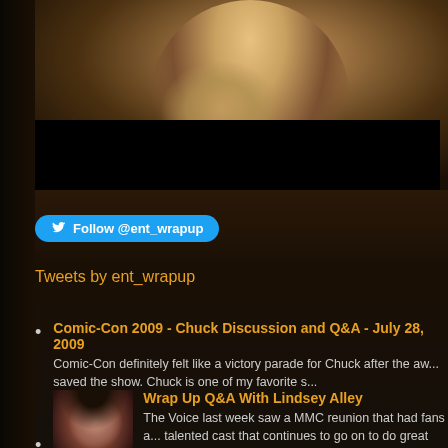[Figure (photo): Partial photo of a woman with blonde hair and tattoo on shoulder/chest, with a black bar overlay in the lower portion of the image.]
Follow @ent_wrapup
Tweets by ent_wrapup
Comic-Con 2009 - Chuck Discussion and Q&A - July 28, 2009
Comic-Con definitely felt like a victory parade for Chuck after the aw... saved the show. Chuck is one of my favorite s...
Wrap Up Q&A With Lindsey Alley
The Voice last week saw a MMC reunion that had fans a... talented cast that continues to go on to do great things.